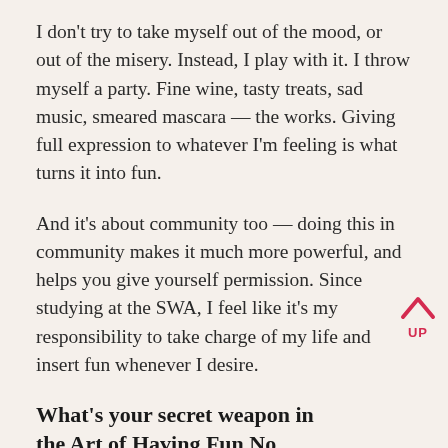I don't try to take myself out of the mood, or out of the misery. Instead, I play with it. I throw myself a party. Fine wine, tasty treats, sad music, smeared mascara — the works. Giving full expression to whatever I'm feeling is what turns it into fun.
And it's about community too — doing this in community makes it much more powerful, and helps you give yourself permission. Since studying at the SWA, I feel like it's my responsibility to take charge of my life and insert fun whenever I desire.
What's your secret weapon in the Art of Having Fun No Matter What?
Remembering that it is always a choice. Many things in life are outside of my immediate control